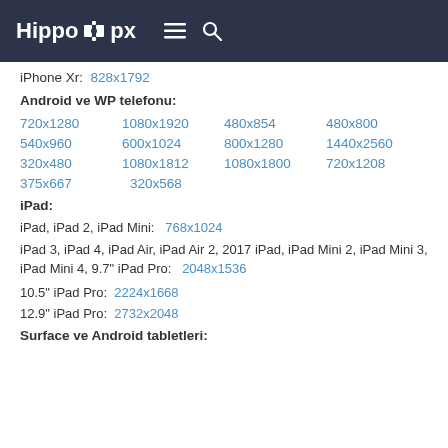Hippo px
iPhone Xr: 828x1792
Android ve WP telefonu:
720x1280
1080x1920
480x854
480x800
540x960
600x1024
800x1280
1440x2560
320x480
1080x1812
1080x1800
720x1208
375x667
320x568
iPad:
iPad, iPad 2, iPad Mini: 768x1024
iPad 3, iPad 4, iPad Air, iPad Air 2, 2017 iPad, iPad Mini 2, iPad Mini 3, iPad Mini 4, 9.7" iPad Pro: 2048x1536
10.5" iPad Pro: 2224x1668
12.9" iPad Pro: 2732x2048
Surface ve Android tabletleri: